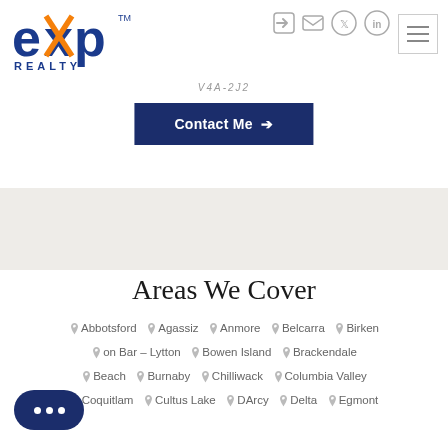[Figure (logo): eXp Realty logo — blue stylized 'exp' with 'REALTY' below, and TM mark]
V4A-2J2
Contact Me →
Areas We Cover
Abbotsford
Agassiz
Anmore
Belcarra
Birken
Bar - Lytton
Bowen Island
Brackendale
Beach
Burnaby
Chilliwack
Columbia Valley
Coquitlam
Cultus Lake
DArcy
Delta
Egmont